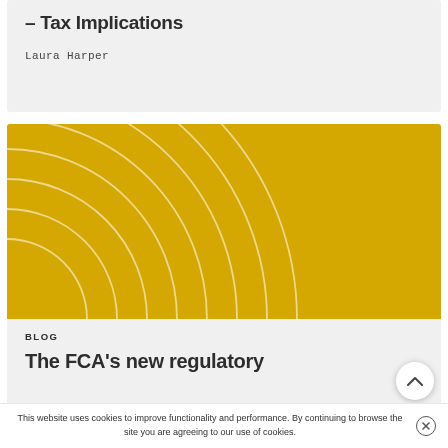– Tax Implications
Laura Harper
[Figure (illustration): Yellow banner with concentric quarter-circle arc lines in the lower-left corner on a golden yellow background]
BLOG
The FCA's new regulatory
This website uses cookies to improve functionality and performance. By continuing to browse the site you are agreeing to our use of cookies.